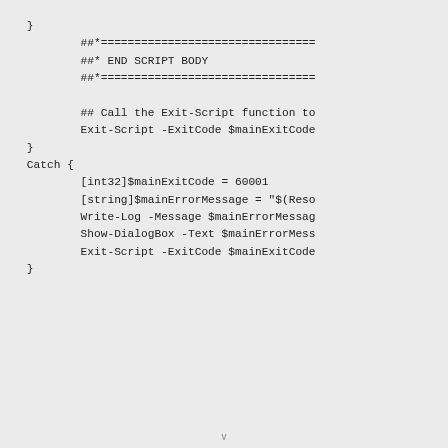}
            ##*================================
            ##* END SCRIPT BODY
            ##*================================

            ## Call the Exit-Script function to
            Exit-Script -ExitCode $mainExitCode
    }
    Catch {
            [int32]$mainExitCode = 60001
            [string]$mainErrorMessage = "$(Reso
            Write-Log -Message $mainErrorMessag
            Show-DialogBox -Text $mainErrorMess
            Exit-Script -ExitCode $mainExitCode
    }
v